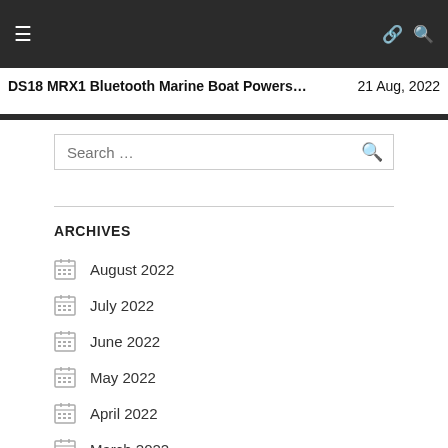DS18 MRX1 Bluetooth Marine Boat Powers… 21 Aug, 2022
ARCHIVES
August 2022
July 2022
June 2022
May 2022
April 2022
March 2022
February 2022